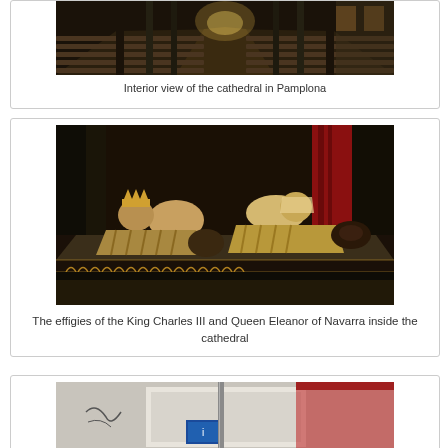[Figure (photo): Interior view of the cathedral in Pamplona — long nave with rows of wooden pews receding to a lit altar, dark stone columns and vaulted ceiling]
Interior view of the cathedral in Pamplona
[Figure (photo): The effigies of the King Charles III and Queen Eleanor of Navarra inside the cathedral — reclining stone effigies on a tomb, carved figures at their feet, in a dark church interior]
The effigies of the King Charles III and Queen Eleanor of Navarra inside the cathedral
[Figure (photo): Partial view of a map or sign, with a blue and red element visible, appears to be a street map or information sign, partially cut off at the bottom of the page]